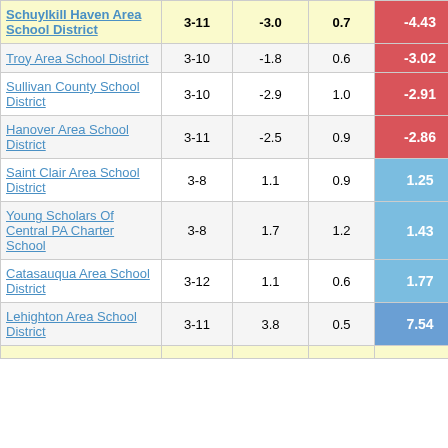| School District | Grades | Col3 | Col4 | Score |
| --- | --- | --- | --- | --- |
| Schuylkill Haven Area School District | 3-11 | -3.0 | 0.7 | -4.43 |
| Troy Area School District | 3-10 | -1.8 | 0.6 | -3.02 |
| Sullivan County School District | 3-10 | -2.9 | 1.0 | -2.91 |
| Hanover Area School District | 3-11 | -2.5 | 0.9 | -2.86 |
| Saint Clair Area School District | 3-8 | 1.1 | 0.9 | 1.25 |
| Young Scholars Of Central PA Charter School | 3-8 | 1.7 | 1.2 | 1.43 |
| Catasauqua Area School District | 3-12 | 1.1 | 0.6 | 1.77 |
| Lehighton Area School District | 3-11 | 3.8 | 0.5 | 7.54 |